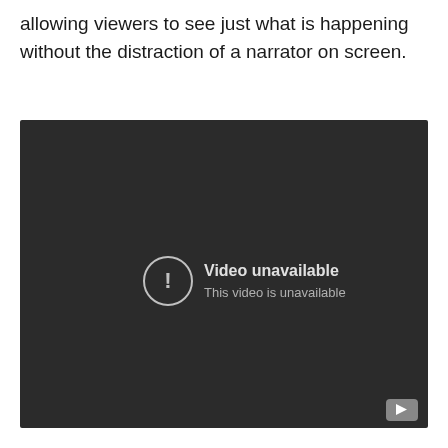allowing viewers to see just what is happening without the distraction of a narrator on screen.
[Figure (screenshot): Embedded video player showing a dark background with a 'Video unavailable' error message. A circle with exclamation mark icon is shown alongside the text 'Video unavailable' and 'This video is unavailable'. A YouTube play button icon is visible in the bottom right corner.]